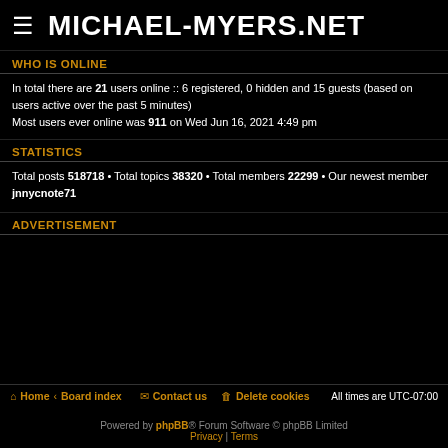MICHAEL-MYERS.NET
WHO IS ONLINE
In total there are 21 users online :: 6 registered, 0 hidden and 15 guests (based on users active over the past 5 minutes)
Most users ever online was 911 on Wed Jun 16, 2021 4:49 pm
STATISTICS
Total posts 518718 • Total topics 38320 • Total members 22299 • Our newest member jnnycnote71
ADVERTISEMENT
Home · Board index | Contact us | Delete cookies | All times are UTC-07:00
Powered by phpBB® Forum Software © phpBB Limited | Privacy | Terms